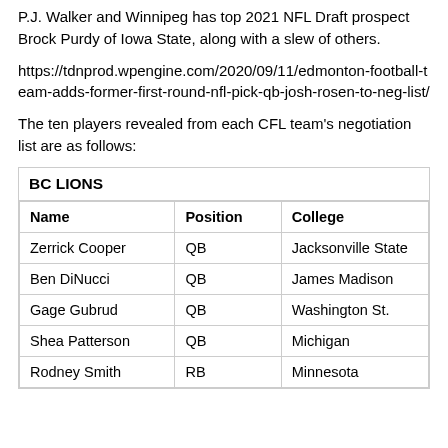P.J. Walker and Winnipeg has top 2021 NFL Draft prospect Brock Purdy of Iowa State, along with a slew of others.
https://tdnprod.wpengine.com/2020/09/11/edmonton-football-team-adds-former-first-round-nfl-pick-qb-josh-rosen-to-neg-list/
The ten players revealed from each CFL team's negotiation list are as follows:
| Name | Position | College |
| --- | --- | --- |
| Zerrick Cooper | QB | Jacksonville State |
| Ben DiNucci | QB | James Madison |
| Gage Gubrud | QB | Washington St. |
| Shea Patterson | QB | Michigan |
| Rodney Smith | RB | Minnesota |